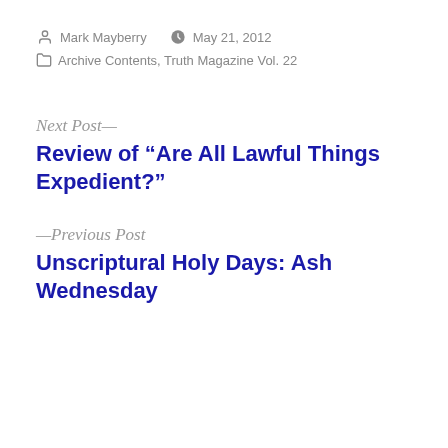Mark Mayberry   May 21, 2012
Archive Contents, Truth Magazine Vol. 22
Next Post—
Review of “Are All Lawful Things Expedient?”
—Previous Post
Unscriptural Holy Days: Ash Wednesday